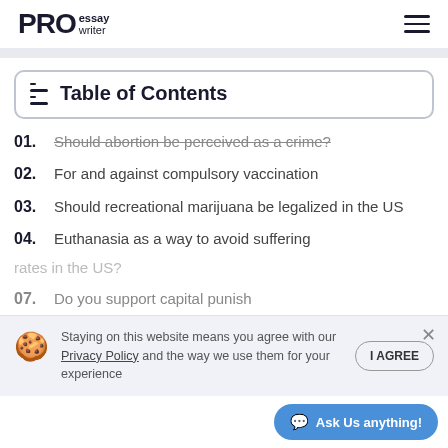PRO essay writer
Table of Contents
01. Should abortion be perceived as a crime?
02. For and against compulsory vaccination
03. Should recreational marijuana be legalized in the US
04. Euthanasia as a way to avoid suffering
Staying on this website means you agree with our Privacy Policy and the way we use them for your experience
rates in the US?
07. Do you support capital punish…